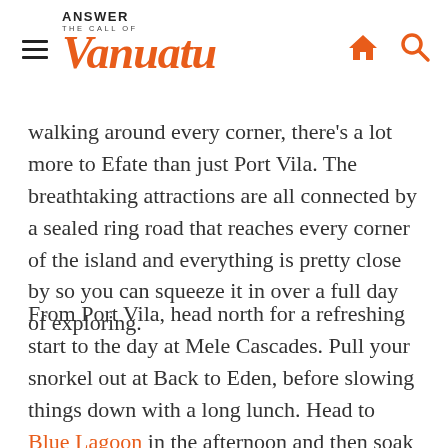Answer the Call of Vanuatu
...walking around every corner, there's a lot more to Efate than just Port Vila. The breathtaking attractions are all connected by a sealed ring road that reaches every corner of the island and everything is pretty close by so you can squeeze it in over a full day of exploring.
From Port Vila, head north for a refreshing start to the day at Mele Cascades. Pull your snorkel out at Back to Eden, before slowing things down with a long lunch. Head to Blue Lagoon in the afternoon and then soak up the sunshine at...